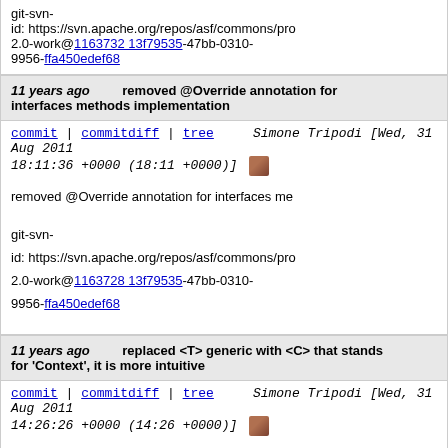git-svn-id: https://svn.apache.org/repos/asf/commons/pro 2.0-work@1163732 13f79535-47bb-0310-9956-ffa450edef68
11 years ago   removed @Override annotation for interfaces methods implementation
commit | commitdiff | tree   Simone Tripodi [Wed, 31 Aug 2011 18:11:36 +0000 (18:11 +0000)]
removed @Override annotation for interfaces me
git-svn-id: https://svn.apache.org/repos/asf/commons/pro 2.0-work@1163728 13f79535-47bb-0310-9956-ffa450edef68
11 years ago   replaced <T> generic with <C> that stands for 'Context', it is more intuitive
commit | commitdiff | tree   Simone Tripodi [Wed, 31 Aug 2011 14:26:26 +0000 (14:26 +0000)]
replaced <T> generic with <C> that stands for 'Co
git-svn-id: https://svn.apache.org/repos/asf/commons/pro